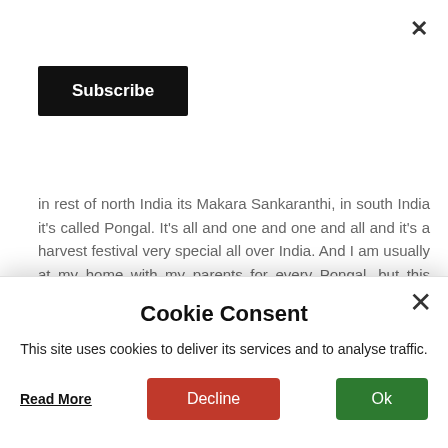[Figure (other): Close X button top right corner]
[Figure (other): Black Subscribe button top left]
in rest of north India its Makara Sankaranthi, in south India it's called Pongal. It's all and one and one and all and it's a harvest festival very special all over India. And I am usually at my home with my parents for every Pongal, but this Pongal, I couldn't get back home. I was down with 102 deg the previous night & was a bit better only the next day. The next day was Maatu Pongal which is the auspicious day for the animals that are important for harvesting – cows and oxen!!!
[Figure (photo): Two photos of palm trees / tropical vegetation partially visible at the bottom of the page]
Cookie Consent
This site uses cookies to deliver its services and to analyse traffic.
Read More
Decline
Ok